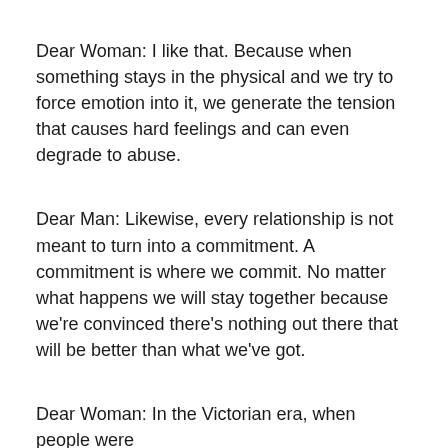Dear Woman: I like that. Because when something stays in the physical and we try to force emotion into it, we generate the tension that causes hard feelings and can even degrade to abuse.
Dear Man: Likewise, every relationship is not meant to turn into a commitment. A commitment is where we commit. No matter what happens we will stay together because we're convinced there's nothing out there that will be better than what we've got.
Dear Woman: In the Victorian era, when people were